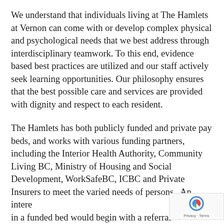We understand that individuals living at The Hamlets at Vernon can come with or develop complex physical and psychological needs that we best address through interdisciplinary teamwork. To this end, evidence based best practices are utilized and our staff actively seek learning opportunities. Our philosophy ensures that the best possible care and services are provided with dignity and respect to each resident.
The Hamlets has both publicly funded and private pay beds, and works with various funding partners, including the Interior Health Authority, Community Living BC, Ministry of Housing and Social Development, WorkSafeBC, ICBC and Private Insurers to meet the varied needs of persons.  An interest in a funded bed would begin with a referral